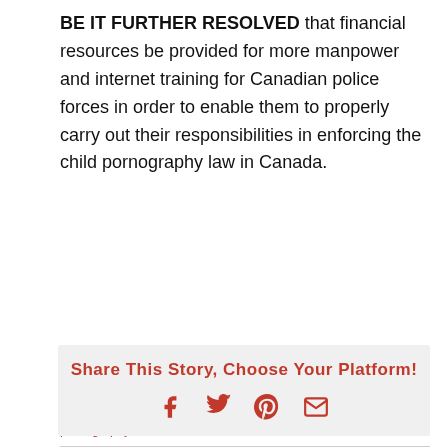BE IT FURTHER RESOLVED that financial resources be provided for more manpower and internet training for Canadian police forces in order to enable them to properly carry out their responsibilities in enforcing the child pornography law in Canada.
May 10th, 2015  |  Categories: News & Views  |  Tags: child pornography, law enforcement, resolution
Share This Story, Choose Your Platform!